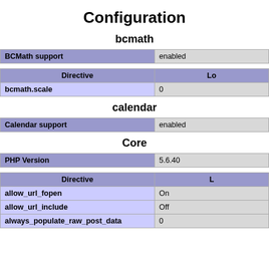Configuration
bcmath
| BCMath support | enabled |
| --- | --- |
| Directive | Lo |
| --- | --- |
| bcmath.scale | 0 |
calendar
| Calendar support | enabled |
| --- | --- |
Core
| PHP Version | 5.6.40 |
| --- | --- |
| Directive | L |
| --- | --- |
| allow_url_fopen | On |
| allow_url_include | Off |
| always_populate_raw_post_data | 0 |